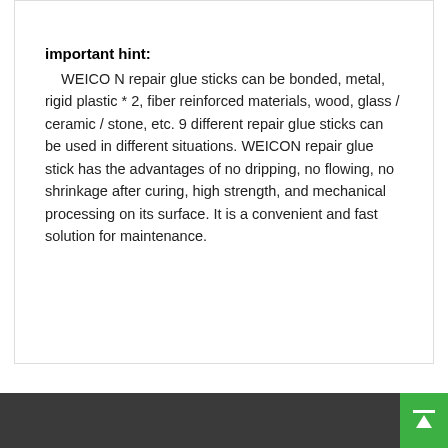important hint:
WEICO N repair glue sticks can be bonded, metal, rigid plastic * 2, fiber reinforced materials, wood, glass / ceramic / stone, etc. 9 different repair glue sticks can be used in different situations. WEICON repair glue stick has the advantages of no dripping, no flowing, no shrinkage after curing, high strength, and mechanical processing on its surface. It is a convenient and fast solution for maintenance.